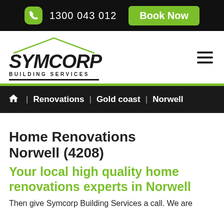1300 043 012  Book Now
[Figure (logo): Symcorp Building Services logo with house roof outline above text]
Home | Renovations | Gold coast | Norwell
Home Renovations Norwell (4208)
Your local high quality home renovations experts in Norwell
Then give Symcorp Building Services a call. We are